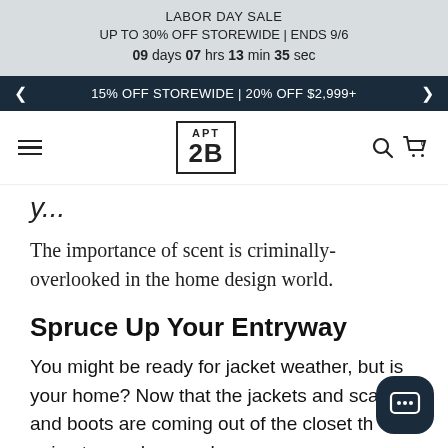LABOR DAY SALE
UP TO 30% OFF STOREWIDE | ENDS 9/6
09 days 07 hrs 13 min 35 sec
15% OFF STOREWIDE | 20% OFF $2,999+
APT 2B
y...
The importance of scent is criminally-overlooked in the home design world.
Spruce Up Your Entryway
You might be ready for jacket weather, but is your home? Now that the jackets and scarves and boots are coming out of the closet th going to need somewhere more permane reside. There's no better place than the